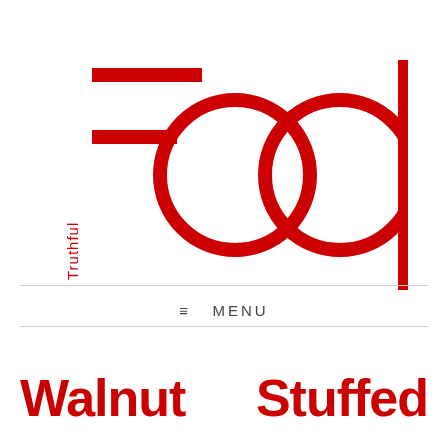[Figure (logo): Truthful Food logo: 'Truthful' written vertically in small red serif text on the left, with 'Food' in large red sans-serif letters where the F is represented by two horizontal red bars stacked (like an F shape), followed by 'ood' in large red circle-based letterforms.]
≡  MENU
Walnut    Stuffed